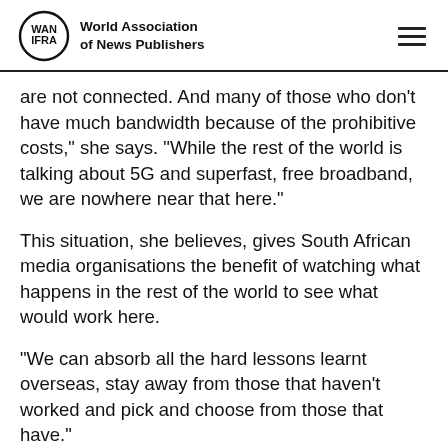World Association of News Publishers
are not connected. And many of those who don't have much bandwidth because of the prohibitive costs," she says. "While the rest of the world is talking about 5G and superfast, free broadband, we are nowhere near that here."
This situation, she believes, gives South African media organisations the benefit of watching what happens in the rest of the world to see what would work here.
“We can absorb all the hard lessons learnt overseas, stay away from those that haven’t worked and pick and choose from those that have.”
“There is the potential for a massive uplift in